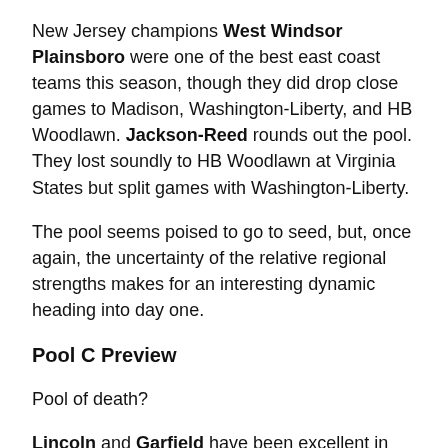New Jersey champions West Windsor Plainsboro were one of the best east coast teams this season, though they did drop close games to Madison, Washington-Liberty, and HB Woodlawn. Jackson-Reed rounds out the pool. They lost soundly to HB Woodlawn at Virginia States but split games with Washington-Liberty.
The pool seems poised to go to seed, but, once again, the uncertainty of the relative regional strengths makes for an interesting dynamic heading into day one.
Pool C Preview
Pool of death?
Lincoln and Garfield have been excellent in Seattle league play this season. Washington-Liberty lost by just a goal to the eventual Virginia state champions